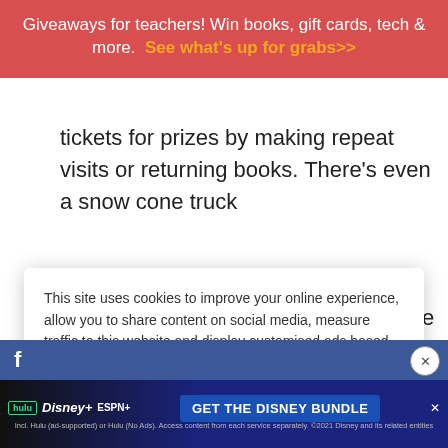Giveaways for teachers! Win books, gift cards, tech & more. See what's up for grabs>>
tickets for prizes by making repeat visits or returning books. There's even a snow cone truck
This site uses cookies to improve your online experience, allow you to share content on social media, measure traffic to this website and display customised ads based on your browsing activity.
Learn More
Accept
and they all took books. My favorite moment was a little girl who got on the bus and immediately started squealing. She had found a Harry Potter
[Figure (screenshot): Disney Bundle advertisement banner with Hulu, Disney+, and ESPN+ logos and 'GET THE DISNEY BUNDLE' call to action button]
Incl. Hulu (ad-supported) or Hulu (No Ads). Access content from each service separately. ©2021 Disney and its related entities